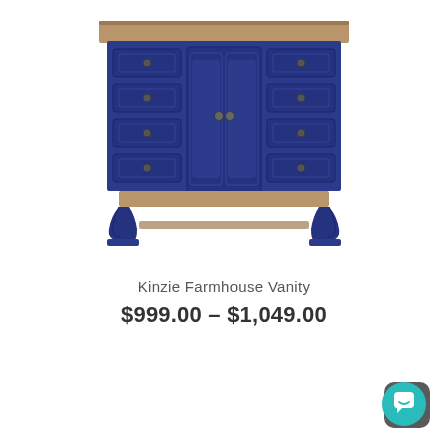[Figure (photo): Blue distressed farmhouse bathroom vanity with wooden top and bottom shelf, six drawers on sides and two center cabinet doors with decorative hardware, ornate curved legs.]
Kinzie Farmhouse Vanity
$999.00 – $1,049.00
[Figure (illustration): Teal/turquoise circular chat button with white chat bubble icon, on a dark grey rounded square background, positioned at bottom right corner.]